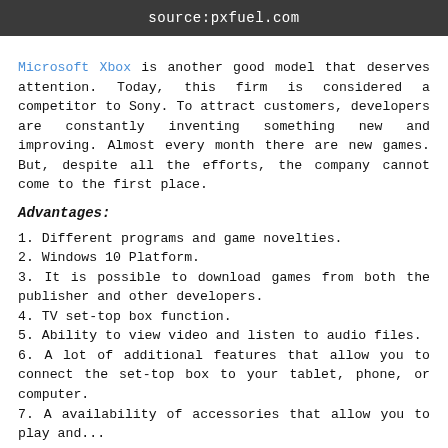source:pxfuel.com
Microsoft Xbox is another good model that deserves attention. Today, this firm is considered a competitor to Sony. To attract customers, developers are constantly inventing something new and improving. Almost every month there are new games. But, despite all the efforts, the company cannot come to the first place.
Advantages:
1. Different programs and game novelties.
2. Windows 10 Platform.
3. It is possible to download games from both the publisher and other developers.
4. TV set-top box function.
5. Ability to view video and listen to audio files.
6. A lot of additional features that allow you to connect the set-top box to your tablet, phone, or computer.
7. Availability of accessories that allow you to play and...